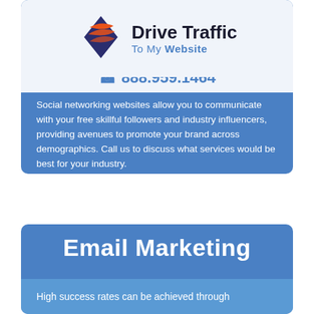[Figure (logo): Drive Traffic To My Website logo with stylized swoosh icon in orange and dark blue, company name in dark text with 'To My Website' in blue]
☎ 888.959.1464
Social networking websites allow you to communicate with your free skillful followers and industry influencers, providing avenues to promote your brand across demographics. Call us to discuss what services would be best for your industry.
Email Marketing
High success rates can be achieved through